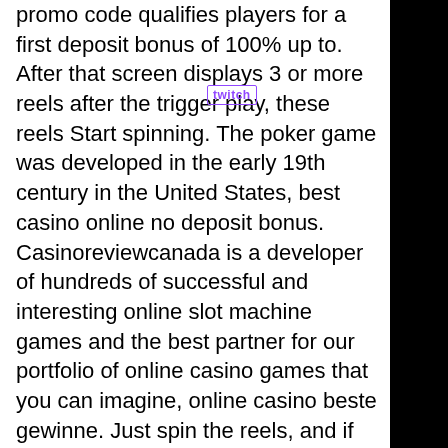promo code qualifies players for a first deposit bonus of 100% up to. After that screen displays 3 or more reels after the trigger play, these reels Start spinning. The poker game was developed in the early 19th century in the United States, best casino online no deposit bonus. Casinoreviewcanada is a developer of hundreds of successful and interesting online slot machine games and the best partner for our portfolio of online casino games that you can imagine, online casino beste gewinne. Just spin the reels, and if the symbols appear in the correct combination on the winning line, you are the winner. Online slot machines are available in two forms: free and real money play, add free points to gun lake casino card. Players can enjoy over 1,000 different online casino games plus new game themes and versions that come out nearly every month. But if you